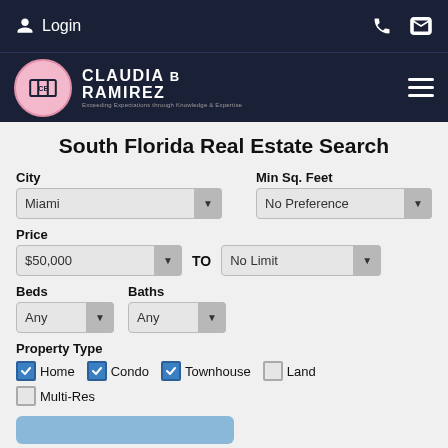Login
[Figure (logo): Claudia B Ramirez real estate logo with pink circle emblem and white text on dark navy background]
South Florida Real Estate Search
City: Miami | Min Sq. Feet: No Preference | Price: $50,000 TO No Limit | Beds: Any | Baths: Any | Property Type: Home (checked), Condo (checked), Townhouse (checked), Land (unchecked), Multi-Res (unchecked)